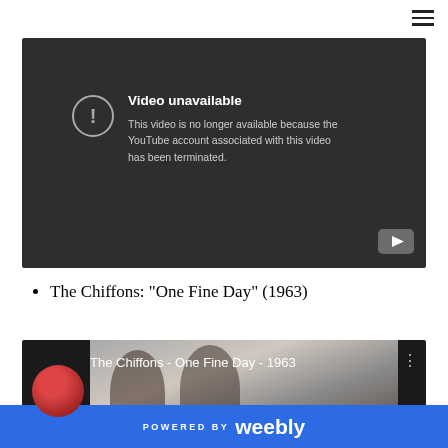[Figure (screenshot): YouTube video unavailable error screen with dark background, exclamation mark in circle, text reading 'Video unavailable - This video is no longer available because the YouTube account associated with this video has been terminated.' YouTube logo in bottom right corner.]
The Chiffons: "One Fine Day" (1963)
[Figure (screenshot): YouTube video thumbnail for 'The Chiffons - One Fine Day - 1963' showing a circular profile photo on the left with a person in red, a black and white photo of two women in the center, and three vertical dots menu icon on the right.]
POWERED BY weebly